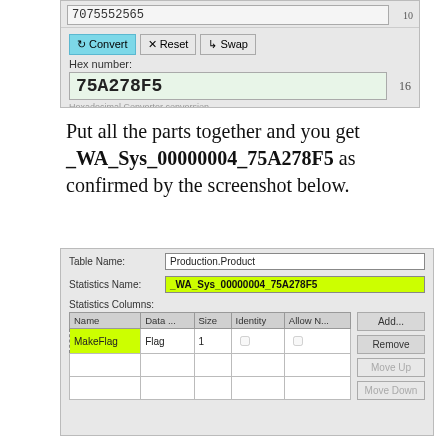[Figure (screenshot): Converter tool UI showing input field with value '7075552565', Convert/Reset/Swap buttons, Hex number label, and hex output field showing '75A278F5' with base 16]
Put all the parts together and you get _WA_Sys_00000004_75A278F5 as confirmed by the screenshot below.
[Figure (screenshot): SQL Server statistics dialog showing Table Name: Production.Product, Statistics Name: _WA_Sys_00000004_75A278F5 (highlighted in yellow-green), Statistics Columns table with MakeFlag row (Flag, Size 1), and Add/Remove/Move Up/Move Down buttons]